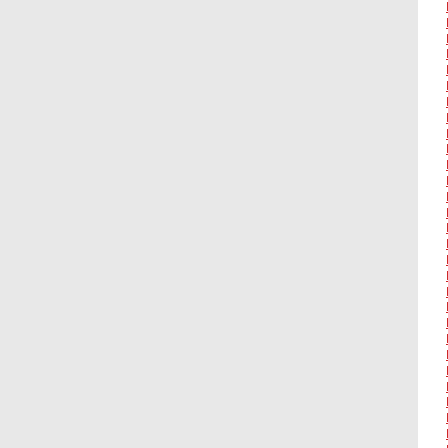FA/DANC 2510J 3.00
FA/DANC 2511A 3.00
FA/DANC 2511B 3.00
FA/DANC 2511C 3.00
FA/DANC 2511D 3.00
FA/DANC 2511E 3.00
FA/DANC 2511F 3.00
FA/DANC 2511G 3.00
FA/DANC 2511H 3.00
FA/DANC 2511J 3.00
FA/DANC 3510A 3.00
FA/DANC 3510B 3.00
FA/DANC 3510C 3.00
FA/DANC 3510D 3.00
FA/DANC 3510E 3.00
FA/DANC 3510F 3.00
FA/DANC 3510G 3.00
FA/DANC 3510H 3.00
FA/DANC 3510J 3.00
FA/DANC 3511A 3.00
FA/DANC 3511B 3.00
FA/DANC 3511C 3.00
FA/DANC 3511D 3.00
FA/DANC 3511E 3.00
FA/DANC 3511F 3.00
FA/DANC 3511G 3.00
FA/DANC 3511H 3.00
FA/DANC 3511J 3.00
FA/DANC 2540 3.00
FA/DANC 3235 3.00
FA/DANC 3236 3.00
FA/DANC 3240 3.00